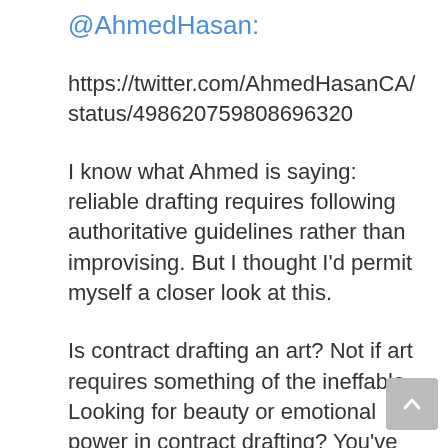@AhmedHasan:
https://twitter.com/AhmedHasanCA/status/498620759808696320
I know what Ahmed is saying: reliable drafting requires following authoritative guidelines rather than improvising. But I thought I’d permit myself a closer look at this.
Is contract drafting an art? Not if art requires something of the ineffable. Looking for beauty or emotional power in contract drafting? You’ve come to the wrong place, friend.
Is it science? Is it (using Google’s formulation) “systematic study of the structure and behavior